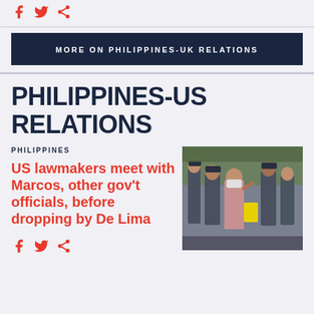[Figure (infographic): Red social sharing icons: Facebook, Twitter, Share at top of page]
MORE ON PHILIPPINES-UK RELATIONS
PHILIPPINES-US RELATIONS
PHILIPPINES
US lawmakers meet with Marcos, other gov't officials, before dropping by De Lima
[Figure (photo): Photo of a woman (De Lima) in a pink outfit, wearing a face mask, surrounded by uniformed officers and other people outside a building, holding a yellow folder]
[Figure (infographic): Red social sharing icons: Facebook, Twitter, Share at bottom of article]